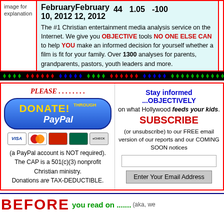|  | Date | Value1 | Value2 | Value3 |
| --- | --- | --- | --- | --- |
| image for explanation | FebruaryFebruary 10, 201212, 2012 | 44 | 1.05 | -100 |
The #1 Christian entertainment media analysis service on the Internet. We give you OBJECTIVE tools NO ONE ELSE CAN to help YOU make an informed decision for yourself whether a film is fit for your family. Over 1300 analyses for parents, grandparents, pastors, youth leaders and more.
[Figure (infographic): Decorative diamond/dot pattern bar in black background with green, red, and blue diamond shapes]
[Figure (infographic): PLEASE........ DONATE THROUGH PayPal button with credit card logos (VISA, MasterCard, others, eCHECK)]
(a PayPal account is NOT required). The CAP is a 501(c)(3) nonprofit Christian ministry. Donations are TAX-DEDUCTIBLE.
Stay informed ...OBJECTIVELY on what Hollywood feeds your kids. SUBSCRIBE (or unsubscribe) to our FREE email version of our reports and our COMING SOON notices
Enter Your Email Address
BEFORE you read on .......(aka, we